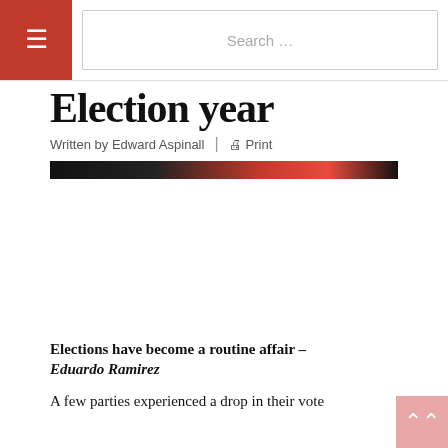☰  Search ...
Election year
Written by Edward Aspinall | Print
[Figure (photo): Partial image strip showing a dark and red-toned photograph related to elections]
Elections have become a routine affair - Eduardo Ramirez
A few parties experienced a drop in their vote